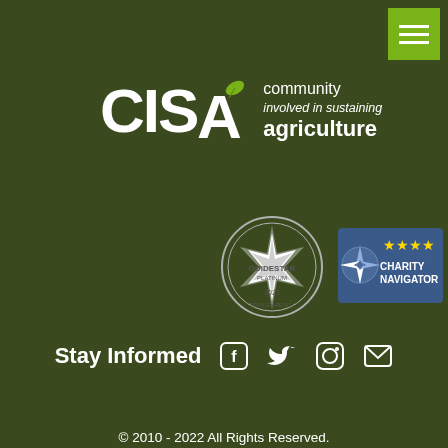[Figure (logo): CISA logo with leaf icon and text 'community involved in sustaining agriculture']
[Figure (logo): Guidestar Platinum Transparency 2021 seal badge]
[Figure (logo): Charity Navigator 4-star badge]
Stay Informed
[Figure (illustration): Social media icons: Facebook, Twitter, Instagram, Email]
© 2010 - 2022 All Rights Reserved.
Contact Us   Site Map   Privacy Policy   Member Login
Site by cdeVision